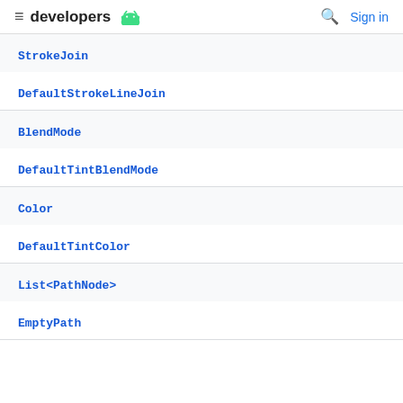developers
StrokeJoin
DefaultStrokeLineJoin
BlendMode
DefaultTintBlendMode
Color
DefaultTintColor
List<PathNode>
EmptyPath